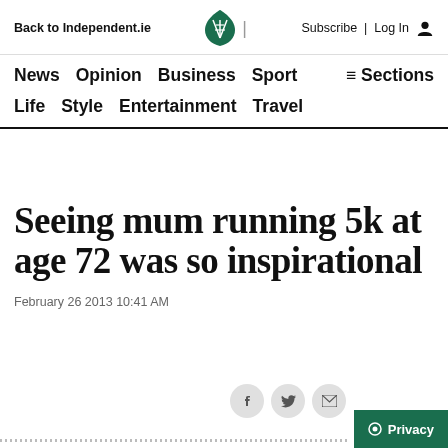Back to Independent.ie | Subscribe | Log In
News   Opinion   Business   Sport   ≡ Sections
Life   Style   Entertainment   Travel
Seeing mum running 5k at age 72 was so inspirational
February 26 2013 10:41 AM